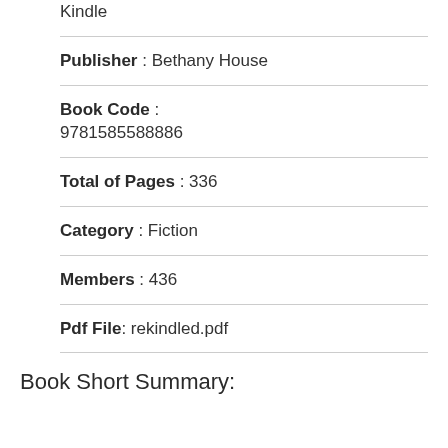Kindle
Publisher : Bethany House
Book Code : 9781585588886
Total of Pages : 336
Category : Fiction
Members : 436
Pdf File: rekindled.pdf
Book Short Summary: